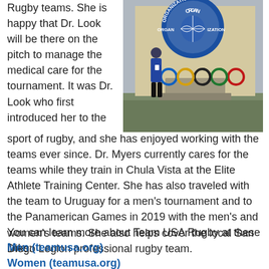Rugby teams. She is happy that Dr. Look will be there on the pitch to manage the medical care for the tournament. It was Dr. Look who first introduced her to the sport of rugby, and she has enjoyed working with the teams ever since. Dr. Myers currently cares for the teams while they train in Chula Vista at the Elite Athlete Training Center. She has also traveled with the team to Uruguay for a men’s tournament and to the Panamerican Games in 2019 with the men’s and women’s teams. She also helps cover the local San Diego Legion professional rugby team.
[Figure (photo): A woman standing in front of a large Olympic rings sculpture with a circular sign reading 'ORGANIZATION' above it, outdoors.]
You can learn more about Team USA Rugby at these links:
Men (teamusa.org)
Women (teamusa.org)